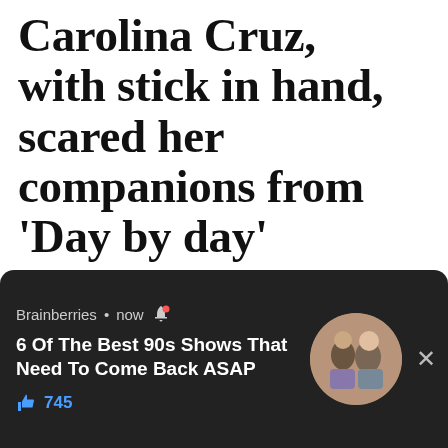Carolina Cruz, with stick in hand, scared her companions from 'Day by day'
On June 12, the presenter turned 43, so days before, she was celebrated on the show Day to day f...
We use cookies on our website to give you the most relevant experience by remembering your preferences and repeat visits. By clicking "Accept All" Ho... pro...
[Figure (screenshot): Brainberries notification popup: '6 Of The Best 90s Shows That Need To Come Back ASAP' with 745 likes and a circular photo of two people]